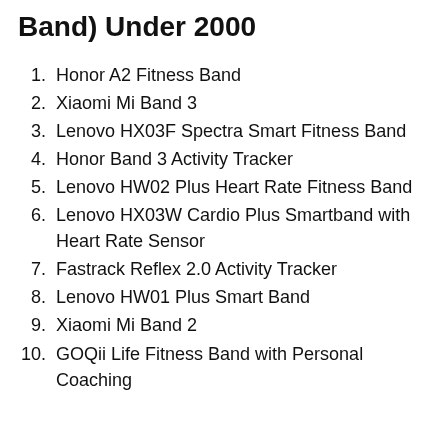Band) Under 2000
1. Honor A2 Fitness Band
2. Xiaomi Mi Band 3
3. Lenovo HX03F Spectra Smart Fitness Band
4. Honor Band 3 Activity Tracker
5. Lenovo HW02 Plus Heart Rate Fitness Band
6. Lenovo HX03W Cardio Plus Smartband with Heart Rate Sensor
7. Fastrack Reflex 2.0 Activity Tracker
8. Lenovo HW01 Plus Smart Band
9. Xiaomi Mi Band 2
10. GOQii Life Fitness Band with Personal Coaching